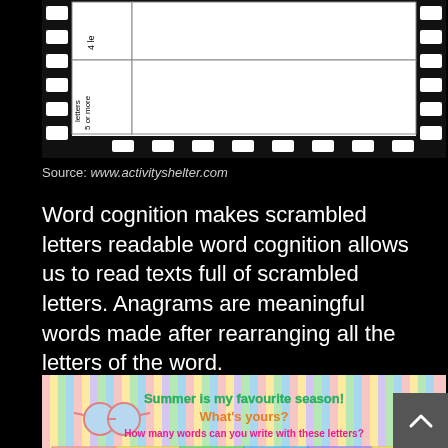[Figure (illustration): Top portion of a worksheet with film strip border showing rows for '4 letters' and '5 or more letters' word categories, white cells for student answers]
Source: www.activityshelter.com
Word cognition makes scrambled letters readable word cognition allows us to read texts full of scrambled letters. Anagrams are meaningful words made after rearranging all the letters of the word.
[Figure (illustration): Bottom portion of a colorful worksheet with striped background showing 'Summer is my favourite season! What's yours? How many words can you write with these letters?' with column headers: 1 LETTER WORDS, 2 LETTER WORDS, 3 LETTER WORDS, 4 LETTER WORDS, 5 LETTER WORDS, 6 LETTER WORDS]